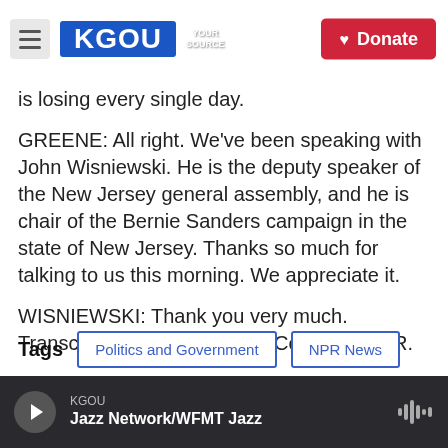KGOU | Donate
is losing every single day.
GREENE: All right. We've been speaking with John Wisniewski. He is the deputy speaker of the New Jersey general assembly, and he is chair of the Bernie Sanders campaign in the state of New Jersey. Thanks so much for talking to us this morning. We appreciate it.
WISNIEWSKI: Thank you very much. Transcript provided by NPR, Copyright NPR.
Tags  Politics and Government  NPR News
KGOU – Jazz Network/WFMT Jazz